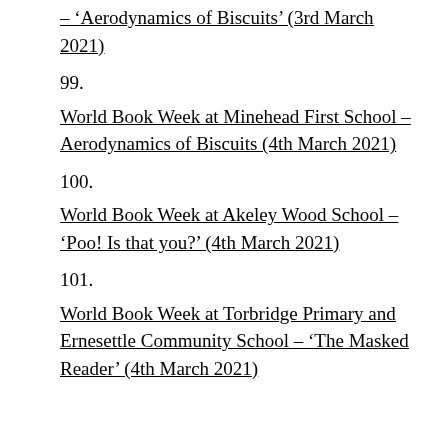– ‘Aerodynamics of Biscuits’ (3rd March 2021)
99.
World Book Week at Minehead First School – Aerodynamics of Biscuits (4th March 2021)
100.
World Book Week at Akeley Wood School – ‘Poo! Is that you?’ (4th March 2021)
101.
World Book Week at Torbridge Primary and Ernesettle Community School – ‘The Masked Reader’ (4th March 2021)